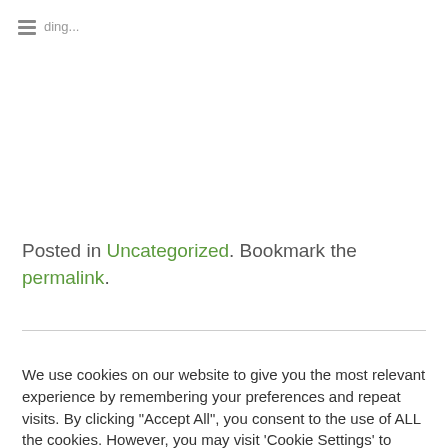Loading...
Posted in Uncategorized. Bookmark the permalink.
We use cookies on our website to give you the most relevant experience by remembering your preferences and repeat visits. By clicking "Accept All", you consent to the use of ALL the cookies. However, you may visit 'Cookie Settings' to provide a controlled consent.